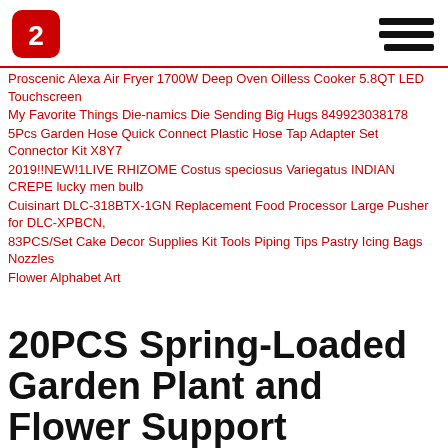[Logo] [Hamburger menu]
Proscenic Alexa Air Fryer 1700W Deep Oven Oilless Cooker 5.8QT LED Touchscreen
My Favorite Things Die-namics Die Sending Big Hugs 849923038178
5Pcs Garden Hose Quick Connect Plastic Hose Tap Adapter Set Connector Kit X8Y7
2019!!NEW!1LIVE RHIZOME Costus speciosus Variegatus INDIAN CREPE lucky men bulb
Cuisinart DLC-318BTX-1GN Replacement Food Processor Large Pusher for DLC-XPBCN,
83PCS/Set Cake Decor Supplies Kit Tools Piping Tips Pastry Icing Bags Nozzles
Flower Alphabet Art
20PCS Spring-Loaded Garden Plant and Flower Support